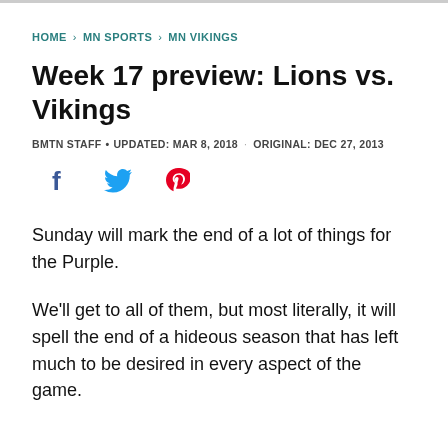HOME > MN SPORTS > MN VIKINGS
Week 17 preview: Lions vs. Vikings
BMTN STAFF • UPDATED: MAR 8, 2018 · ORIGINAL: DEC 27, 2013
[Figure (illustration): Social sharing icons: Facebook (blue), Twitter (blue), Pinterest (red)]
Sunday will mark the end of a lot of things for the Purple.
We'll get to all of them, but most literally, it will spell the end of a hideous season that has left much to be desired in every aspect of the game.